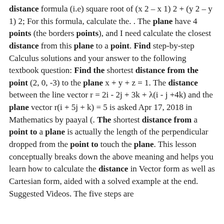distance formula (i.e) square root of (x 2 – x 1) 2 + (y 2 – y 1) 2; For this formula, calculate the. . The plane have 4 points (the borders points), and I need calculate the closest distance from this plane to a point. Find step-by-step Calculus solutions and your answer to the following textbook question: Find the shortest distance from the point (2, 0, -3) to the plane x + y + z = 1. The distance between the line vector r = 2i - 2j + 3k + λ(i - j +4k) and the plane vector r(i + 5j + k) = 5 is asked Apr 17, 2018 in Mathematics by paayal (. The shortest distance from a point to a plane is actually the length of the perpendicular dropped from the point to touch the plane. This lesson conceptually breaks down the above meaning and helps you learn how to calculate the distance in Vector form as well as Cartesian form, aided with a solved example at the end. Suggested Videos. The five steps are